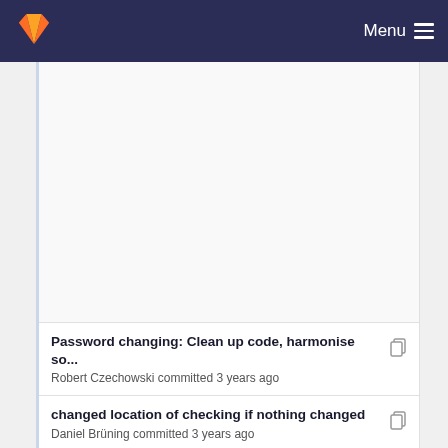Menu
Password changing: Clean up code, harmonise so... Robert Czechowski committed 3 years ago
changed location of checking if nothing changed Daniel Brüning committed 3 years ago
romoved all warnings Daniel Brüning committed 3 years ago
Allow group admin to edit profiles of group memb... Robert Czechowski committed 3 years ago
Rustfmt ALL the code! Robert Czechowski committed 3 years ago